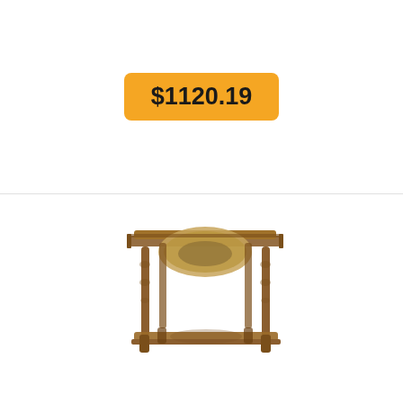$1120.19
[Figure (photo): A rare 19th century Italian two-tier side lamp table with turned wooden legs and decorative painted top surface featuring an oval landscape scene.]
Rare 19th Century Italian
Rare 19th Century Italian Side Lamp